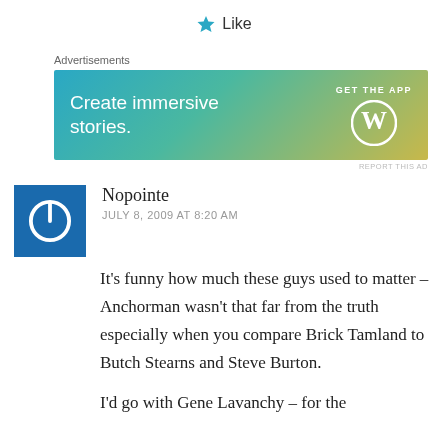[Figure (other): Like button with star icon]
Advertisements
[Figure (other): WordPress advertisement banner: Create immersive stories. GET THE APP with WordPress logo]
REPORT THIS AD
Nopointe
JULY 8, 2009 AT 8:20 AM
It's funny how much these guys used to matter – Anchorman wasn't that far from the truth especially when you compare Brick Tamland to Butch Stearns and Steve Burton.
I'd go with Gene Lavanchy – for the